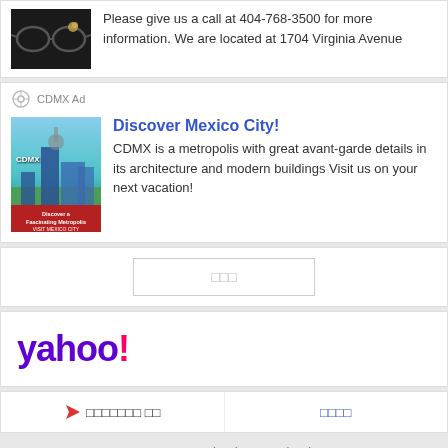Please give us a call at 404-768-3500 for more information. We are located at 1704 Virginia Avenue
CDMX Ad
[Figure (photo): Photo of Mexico City skyline with buildings and monument, red banner at bottom reading VISIT MEXICO CITY]
Discover Mexico City!
CDMX is a metropolis with great avant-garde details in its architecture and modern buildings Visit us on your next vacation!
□□□
[Figure (logo): Yahoo! logo in purple and magenta]
▶ □□□□□□□ □□
□□□□
□□  □□  □□□□□  □□□□□□ (□□□)  □□□□□ (□□□)  □□□□□□□